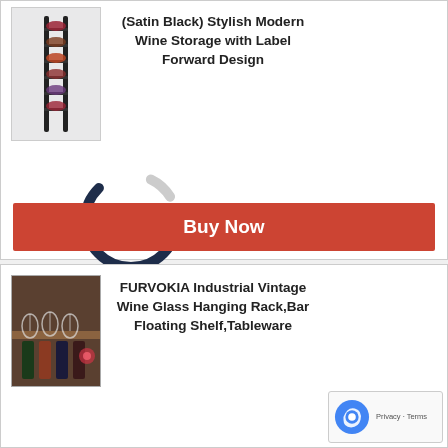[Figure (photo): Wall-mounted vertical wine rack in black metal holding several wine bottles]
(Satin Black) Stylish Modern Wine Storage with Label Forward Design
[Figure (donut-chart): Score]
Buy Now
[Figure (photo): Bar shelf with hanging wine glasses, bottles and tableware]
FURVOKIA Industrial Vintage Wine Glass Hanging Rack,Bar Floating Shelf,Tableware